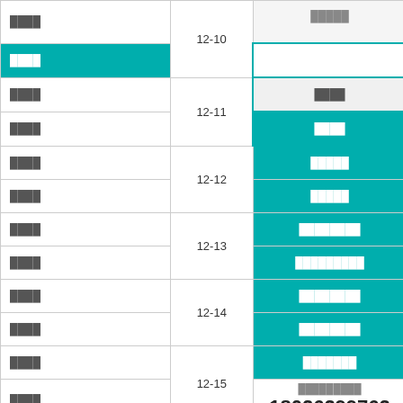|  | 12-10 to 12-16 |  |
| --- | --- | --- |
| ████ | 12-10 | █████ |
| ████ |  |  |
| ████ | 12-11 | ████ / ████ |
| ████ | 12-12 | █████ / █████ |
| ████ / ████ | 12-13 | ████████ / █████████ |
| ████ / ████ | 12-14 | ████████ / ████████ |
| ████ / ████ | 12-15 | ███████ / █████████ |
| ████ / █████ | 12-16 | 18026299762 / ███████ |